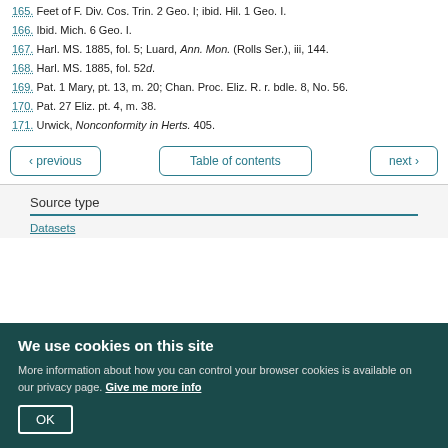165. Feet of F. Div. Cos. Trin. 2 Geo. I; ibid. Hil. 1 Geo. I.
166. Ibid. Mich. 6 Geo. I.
167. Harl. MS. 1885, fol. 5; Luard, Ann. Mon. (Rolls Ser.), iii, 144.
168. Harl. MS. 1885, fol. 52d.
169. Pat. 1 Mary, pt. 13, m. 20; Chan. Proc. Eliz. R. r. bdle. 8, No. 56.
170. Pat. 27 Eliz. pt. 4, m. 38.
171. Urwick, Nonconformity in Herts. 405.
‹ previous   Table of contents   next ›
Source type
Datasets
We use cookies on this site
More information about how you can control your browser cookies is available on our privacy page. Give me more info
OK